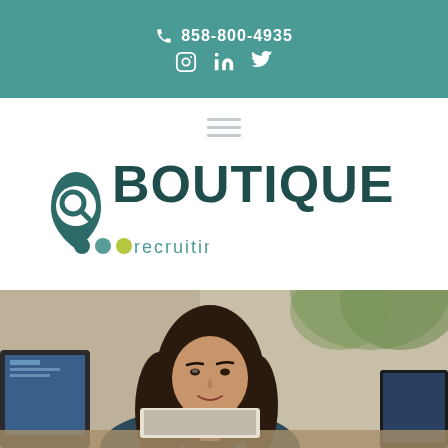858-800-4935
[Figure (logo): Boutique Recruiting logo with teal location pin icon containing magnifying glass, three dots (dark teal, medium teal, yellow-green), and 'BOUTIQUE recruiting' wordmark]
[Figure (photo): Young woman with long dark hair looking down at laptop, seated at desk, with plants visible in background]